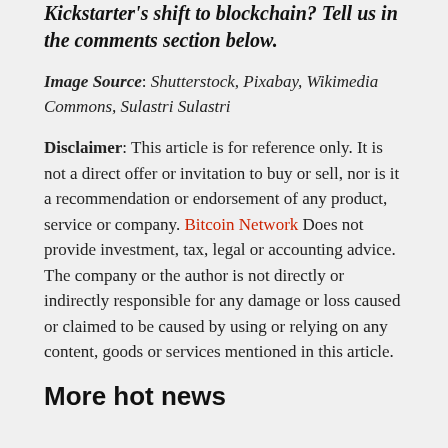Kickstarter's shift to blockchain? Tell us in the comments section below.
Image Source: Shutterstock, Pixabay, Wikimedia Commons, Sulastri Sulastri
Disclaimer: This article is for reference only. It is not a direct offer or invitation to buy or sell, nor is it a recommendation or endorsement of any product, service or company. Bitcoin Network Does not provide investment, tax, legal or accounting advice. The company or the author is not directly or indirectly responsible for any damage or loss caused or claimed to be caused by using or relying on any content, goods or services mentioned in this article.
More hot news